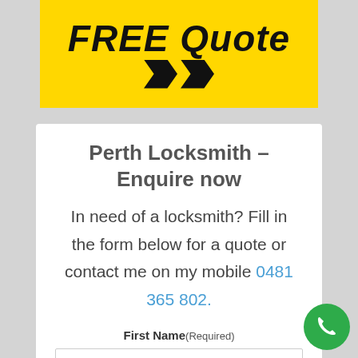[Figure (other): Yellow banner with 'FREE Quote' text in bold italic black and two black chevron arrows pointing right]
Perth Locksmith - Enquire now
In need of a locksmith? Fill in the form below for a quote or contact me on my mobile 0481 365 802.
First Name (Required)
[Figure (other): Green circular phone call button in bottom right corner with white phone handset icon]